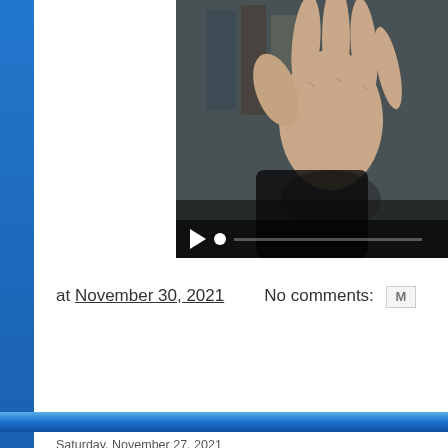[Figure (photo): Video player showing a close-up photo of a raised hand/palm against a blurred background. A playback bar is visible at the bottom with a play button triangle and a white dot.]
at November 30, 2021      No comments:   M
Saturday, November 27, 2021
SETH ROGAN WANTS YOU TO STOP CO... SURGE
[Figure (photo): Partial face photo of a man, cropped, showing forehead and hair.]